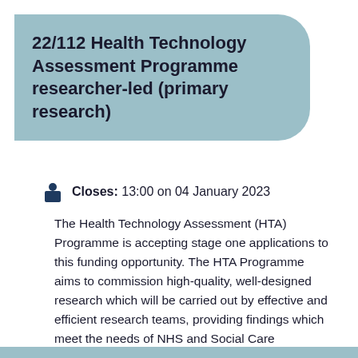22/112 Health Technology Assessment Programme researcher-led (primary research)
Closes: 13:00 on 04 January 2023
The Health Technology Assessment (HTA) Programme is accepting stage one applications to this funding opportunity. The HTA Programme aims to commission high-quality, well-designed research which will be carried out by effective and efficient research teams, providing findings which meet the needs of NHS and Social Care managers and leaders.